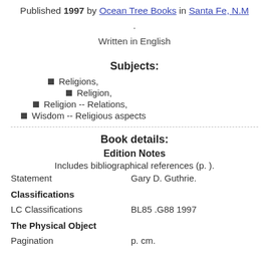Published 1997 by Ocean Tree Books in Santa Fe, N.M .
Written in English
Subjects:
Religions,
Religion,
Religion -- Relations,
Wisdom -- Religious aspects
Book details:
Edition Notes
Includes bibliographical references (p. ).
|  |  |
| --- | --- |
| Statement | Gary D. Guthrie. |
| Classifications |  |
| LC Classifications | BL85 .G88 1997 |
| The Physical Object |  |
| Pagination | p. cm. |